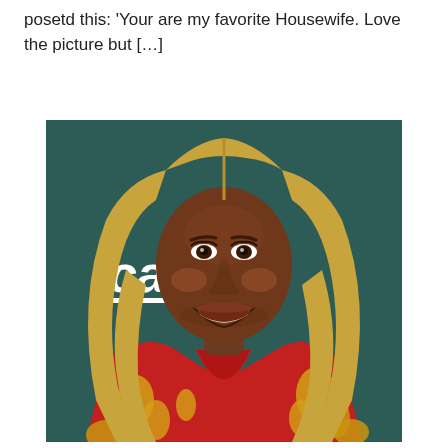posetd this: 'Your are my favorite Housewife. Love the picture but […]
[Figure (photo): A woman with long straight blonde hair wearing a red and gold floral print dress/jacket, smiling broadly. Background is a dark teal/green color with partial text 'can' visible on a sign.]